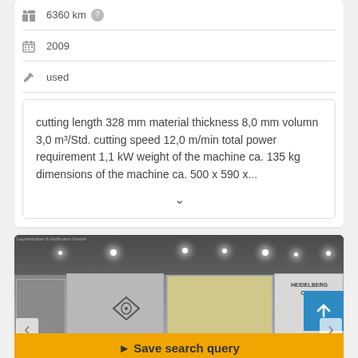6360 km
2009
used
cutting length 328 mm material thickness 8,0 mm volumn 3,0 m³/Std. cutting speed 12,0 m/min total power requirement 1,1 kW weight of the machine ca. 135 kg dimensions of the machine ca. 500 x 590 x...
[Figure (photo): Industrial machinery photo showing a factory interior with ceiling lights and heavy machinery including what appears to be a Heidelberg machine. A yellow 'Save search query' banner is overlaid at the bottom.]